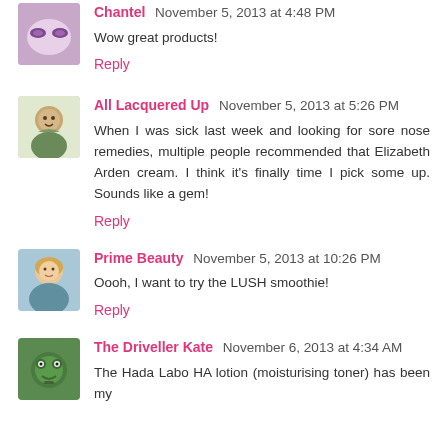Chantel November 5, 2013 at 4:48 PM
Wow great products!
Reply
All Lacquered Up November 5, 2013 at 5:26 PM
When I was sick last week and looking for sore nose remedies, multiple people recommended that Elizabeth Arden cream. I think it's finally time I pick some up. Sounds like a gem!
Reply
Prime Beauty November 5, 2013 at 10:26 PM
Oooh, I want to try the LUSH smoothie!
Reply
The Driveller Kate November 6, 2013 at 4:34 AM
The Hada Labo HA lotion (moisturising toner) has been my